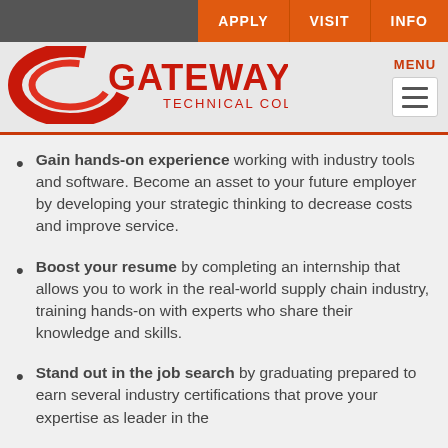APPLY | VISIT | INFO
[Figure (logo): Gateway Technical College logo — red swoosh with GATEWAY text and 'Technical College' subtitle]
Gain hands-on experience working with industry tools and software. Become an asset to your future employer by developing your strategic thinking to decrease costs and improve service.
Boost your resume by completing an internship that allows you to work in the real-world supply chain industry, training hands-on with experts who share their knowledge and skills.
Stand out in the job search by graduating prepared to earn several industry certifications that prove your expertise as leader in the